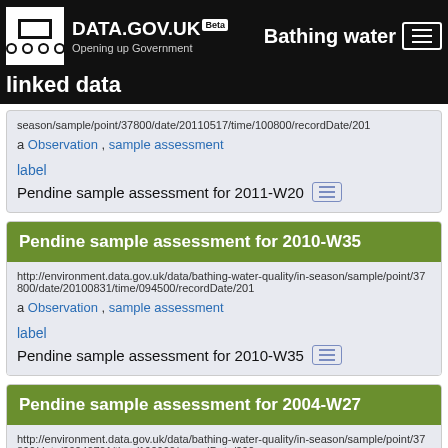DATA.GOV.UK Beta — Bathing water — Opening up Government
linked data
season/sample/point/37800/date/20110517/time/100800/recordDate/201
a Observation , sample assessment
label
Pendine sample assessment for 2011-W20
Pendine sample assessment for 2010-W35
http://environment.data.gov.uk/data/bathing-water-quality/in-season/sample/point/37800/date/20100831/time/094500/recordDate/201
a Observation , sample assessment
label
Pendine sample assessment for 2010-W35
Pendine sample assessment for 2004-W27
http://environment.data.gov.uk/data/bathing-water-quality/in-season/sample/point/37800/date/20040701/time/100000/recordDate/200
a Observation , sample assessment